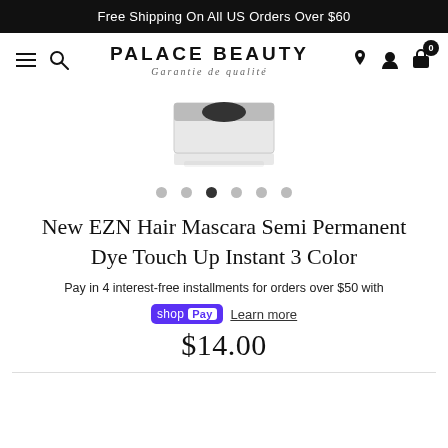Free Shipping On All US Orders Over $60
[Figure (logo): Palace Beauty logo with hamburger menu, search icon, brand name PALACE BEAUTY, Garantie de qualité tagline, location pin, account, and cart with 0 badge]
[Figure (photo): Product image of EZN Hair Mascara in a compact container, partially visible, white background with reflection]
[Figure (other): Image carousel dots — 6 dots, third one active (dark)]
New EZN Hair Mascara Semi Permanent Dye Touch Up Instant 3 Color
Pay in 4 interest-free installments for orders over $50 with
shop Pay  Learn more
$14.00